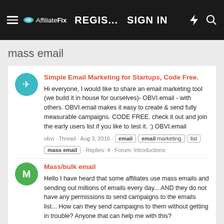AffiliateFix — REGIS... SIGN IN
mass email
Simple Email Marketing for Startups, Code Free.
Hi everyone, I would like to share an email marketing tool (we build it in house for ourselves)- OBVI.email - with others. OBVI.email makes it easy to create & send fully measurable campaigns. CODE FREE. check it out and join the early users list if you like to test it. :) OBVI.email
obvi · Thread · Aug 3, 2016 · email email marketing list mass email · Replies: 4 · Forum: Introductions
Mass/bulk email
Hello I have heard that some affiliates use mass emails and sending out millions of emails every day... AND they do not have any permissions to send campaigns to the emails list... How can they send campaigns to them without getting in trouble? Anyone that can help me with this?